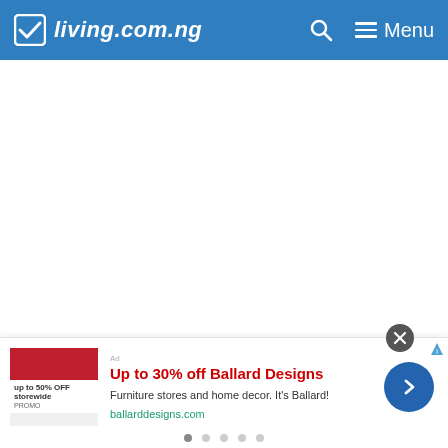living.com.ng — Menu
[Figure (screenshot): White blank content area below the navigation header]
Up to 30% off Ballard Designs
Furniture stores and home decor. It's Ballard!
ballarddesigns.com